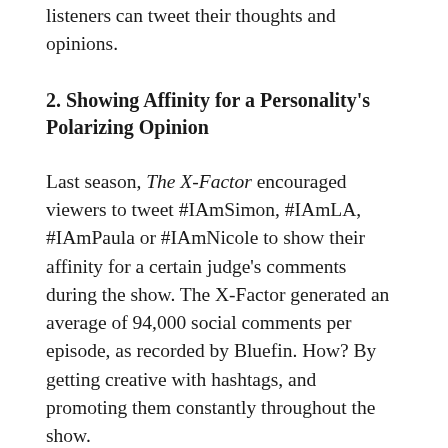listeners can tweet their thoughts and opinions.
2. Showing Affinity for a Personality's Polarizing Opinion
Last season, The X-Factor encouraged viewers to tweet #IAmSimon, #IAmLA, #IAmPaula or #IAmNicole to show their affinity for a certain judge's comments during the show. The X-Factor generated an average of 94,000 social comments per episode, as recorded by Bluefin. How? By getting creative with hashtags, and promoting them constantly throughout the show.